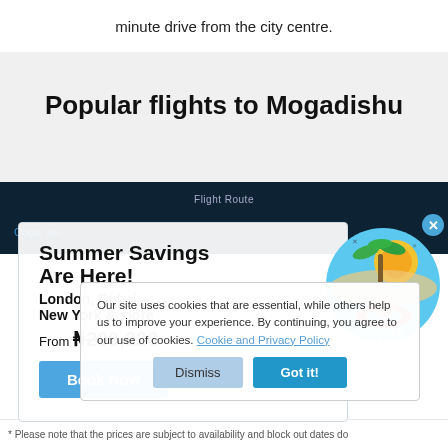minute drive from the city centre.
Popular flights to Mogadishu
Flight Route
Oops, se...
[Figure (illustration): Summer Vibes badge with palm tree, sun and a person floating on a pool ring]
Summer Savings Are Here! London, Dubai, New York & more From ₦299,220
Our site uses cookies that are essential, while others help us to improve your experience. By continuing, you agree to our use of cookies. Cookie and Privacy Policy
* Please note that the prices are subject to availability and block out dates do